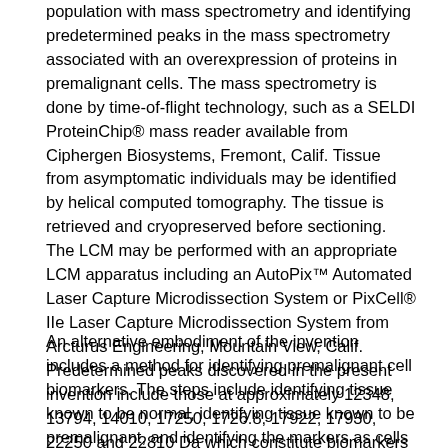population with mass spectrometry and identifying predetermined peaks in the mass spectrometry associated with an overexpression of proteins in premalignant cells. The mass spectrometry is done by time-of-flight technology, such as a SELDI ProteinChip® mass reader available from Ciphergen Biosystems, Fremont, Calif. Tissue from asymptomatic individuals may be identified by helical computed tomography. The tissue is retrieved and cryopreserved before sectioning. The LCM may be performed with an appropriate LCM apparatus including an AutoPix™ Automated Laser Capture Microdissection System or PixCell® IIe Laser Capture Microdissection System from Arcturus Engineering, Mountain View, Calif. Predetermined peaks discovered in the present invention include those at approximately 12348, 13794, 14010, 17250, 1726.8, 17922, 17930, 22250 and 22810 Da which constitute biomarkers for premalignant lung cells.
An alternative embodiment of the invention includes a method for identifying premalignant cell biomarkers. The steps include identifying tissue known to be normal, identifying tissue known to be premalignant, and identifying the markers as cells found for...